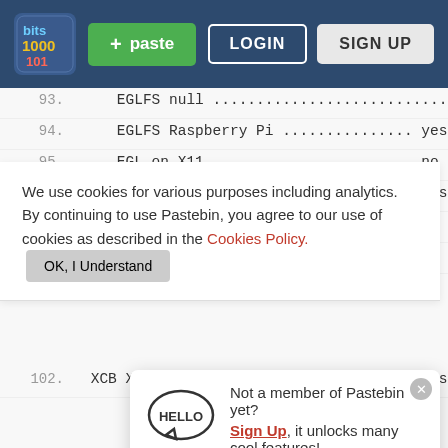[Figure (screenshot): Pastebin website navigation bar with logo, green paste button, LOGIN and SIGN UP buttons on dark blue background]
93.     EGLFS null ......................... no
94.     EGLFS Raspberry Pi ............... yes
95.     EGL on X11 ........................ no
96.  LinuxFB .............................. yes
97.  Mir client .......................... no
98.  X11.
We use cookies for various purposes including analytics. By continuing to use Pastebin, you agree to our use of cookies as described in the Cookies Policy.   OK, I Understand
102.  XCB XKB .............................. yes
[Figure (illustration): Hello speech bubble illustration with HELLO text]
Not a member of Pastebin yet? Sign Up, it unlocks many cool features!
106.     XCB Xlib .......................... yes
107.     Using system-provided xkbcommon ...... no
108.  Qt Widgets:
109.     GTK+ ............................... no